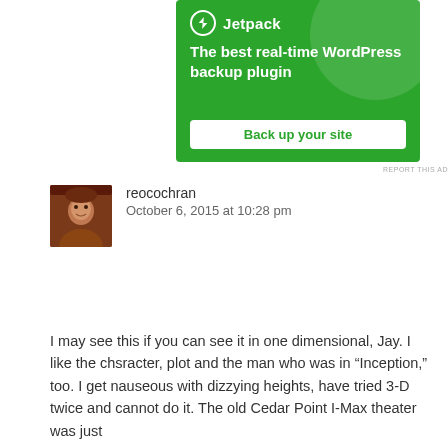[Figure (advertisement): Jetpack WordPress plugin advertisement with green background, showing logo, tagline 'The best real-time WordPress backup plugin', and a 'Back up your site' button]
REPORT THIS AD
reocochran
October 6, 2015 at 10:28 pm
I may see this if you can see it in one dimensional, Jay. I like the chsracter, plot and the man who was in “Inception,” too. I get nauseous with dizzying heights, have tried 3-D twice and cannot do it. The old Cedar Point I-Max theater was just